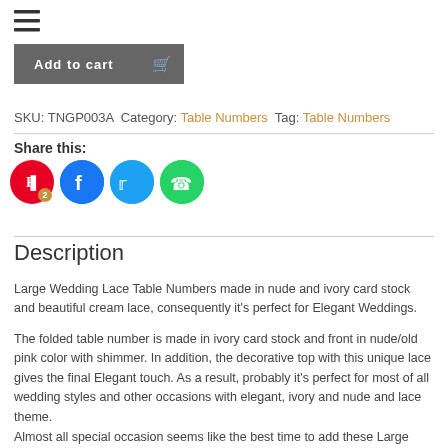[Figure (other): Hamburger menu icon (three horizontal lines)]
[Figure (other): Add to cart button (dark grey) with cart icon]
SKU: TNGP003A  Category: Table Numbers  Tag: Table Numbers
Share this:
[Figure (other): Social sharing icons: Pinterest (red, badge 2), Facebook (blue), Twitter (light blue), WhatsApp (green)]
Description
Large Wedding Lace Table Numbers made in nude and ivory card stock and beautiful cream lace, consequently it’s perfect for Elegant Weddings.
The folded table number is made in ivory card stock and front in nude/old pink color with shimmer. In addition, the decorative top with this unique lace gives the final Elegant touch. As a result, probably it’s perfect for most of all wedding styles and other occasions with elegant, ivory and nude and lace theme.
Almost all special occasion seems like the best time to add these Large